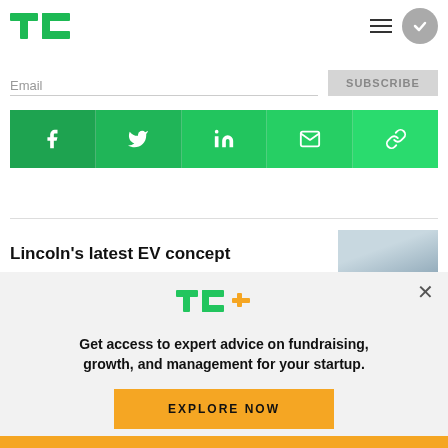TechCrunch logo, navigation hamburger menu, and user account button
Email | Subscribe
[Figure (infographic): Green social share bar with icons: Facebook, Twitter, LinkedIn, Email, Link]
Lincoln's latest EV concept
[Figure (photo): Thumbnail image of a car concept, light gray sky background]
[Figure (logo): TC+ logo in green with plus sign in yellow/orange]
Get access to expert advice on fundraising, growth, and management for your startup.
EXPLORE NOW